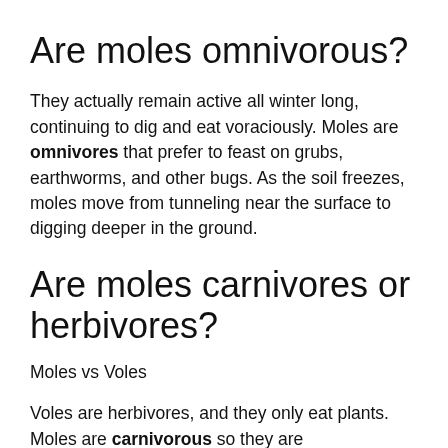Are moles omnivorous?
They actually remain active all winter long, continuing to dig and eat voraciously. Moles are omnivores that prefer to feast on grubs, earthworms, and other bugs. As the soil freezes, moles move from tunneling near the surface to digging deeper in the ground.
Are moles carnivores or herbivores?
Moles vs Voles
Voles are herbivores, and they only eat plants. Moles are carnivorous so they are…